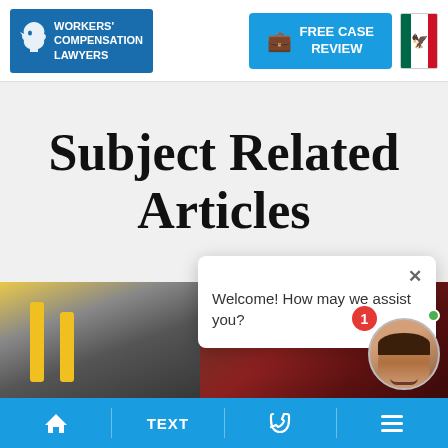[Figure (screenshot): Workers' Compensation Lawyers website header with logo, Free Case Review button, and Mexican flag]
Subject Related Articles
[Figure (photo): Photos of mechanics and car engine repair scene in background]
[Figure (screenshot): Chat popup with message: Welcome! How may we assist you? with close button, notification badge showing 1, and female avatar with green online dot]
Home | TEXT | Phone | Menu navigation bar